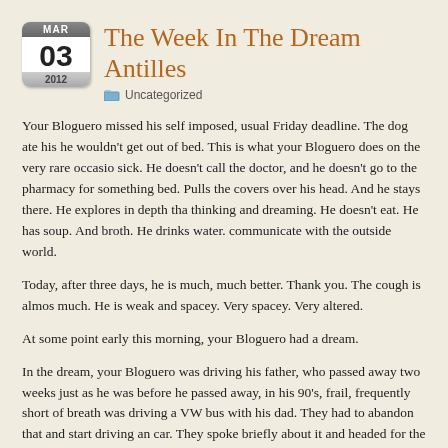The Week In The Dream Antilles
Uncategorized
Your Bloguero missed his self imposed, usual Friday deadline. The dog ate his he wouldn't get out of bed. This is what your Bloguero does on the very rare occasio sick. He doesn't call the doctor, and he doesn't go to the pharmacy for something bed. Pulls the covers over his head. And he stays there. He explores in depth tha thinking and dreaming. He doesn't eat. He has soup. And broth. He drinks water. communicate with the outside world.
Today, after three days, he is much, much better. Thank you. The cough is almos much. He is weak and spacey. Very spacey. Very altered.
At some point early this morning, your Bloguero had a dream.
In the dream, your Bloguero was driving his father, who passed away two weeks just as he was before he passed away, in his 90's, frail, frequently short of breath was driving a VW bus with his dad. They had to abandon that and start driving an car. They spoke briefly about it and headed for the station anyway without it. The station, your Bloguero simply could not navigate the parking lot. Every road went the wrong way. All the turns were forbidden. Finally, frustrated, your Bloguero par and began to walk slowly with his Dad to the station. Dad has to walk pretty slow failure. But there's a problem. They didn't know where the entrance to the station